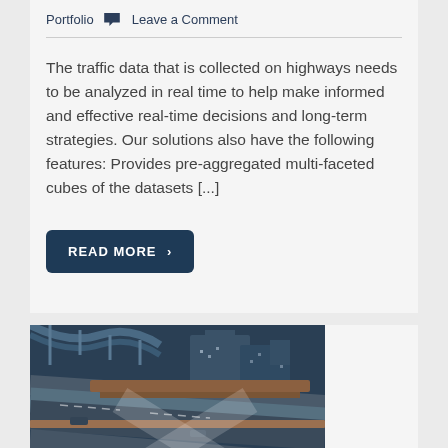Portfolio  💬 Leave a Comment
The traffic data that is collected on highways needs to be analyzed in real time to help make informed and effective real-time decisions and long-term strategies. Our solutions also have the following features: Provides pre-aggregated multi-faceted cubes of the datasets [...]
READ MORE  >
[Figure (photo): Aerial/elevated view of a highway interchange with multiple lanes and overpasses, city infrastructure visible]